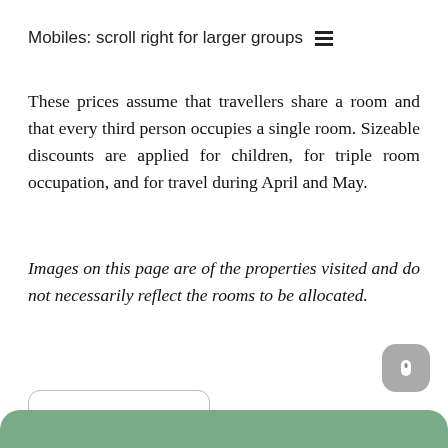Mobiles: scroll right for larger groups ☰
These prices assume that travellers share a room and that every third person occupies a single room. Sizeable discounts are applied for children, for triple room occupation, and for travel during April and May.
Images on this page are of the properties visited and do not necessarily reflect the rooms to be allocated.
Show All